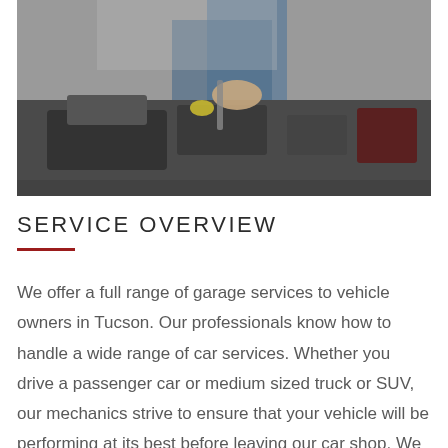[Figure (photo): A mechanic working on a car engine under the hood, partially visible from the top. The image is cropped at the top.]
SERVICE OVERVIEW
We offer a full range of garage services to vehicle owners in Tucson. Our professionals know how to handle a wide range of car services. Whether you drive a passenger car or medium sized truck or SUV, our mechanics strive to ensure that your vehicle will be performing at its best before leaving our car shop. We can help you with everything from an oil change to an engine change. We can handle any problem on both foreign and